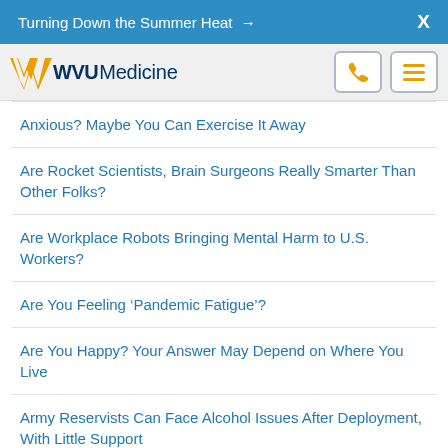Turning Down the Summer Heat →  X
[Figure (logo): WVU Medicine logo with gold flying WV and dark blue WVU Medicine text]
Anxious? Maybe You Can Exercise It Away
Are Rocket Scientists, Brain Surgeons Really Smarter Than Other Folks?
Are Workplace Robots Bringing Mental Harm to U.S. Workers?
Are You Feeling 'Pandemic Fatigue'?
Are You Happy? Your Answer May Depend on Where You Live
Army Reservists Can Face Alcohol Issues After Deployment, With Little Support
As Countries Become More Tolerant, Suicides Among Gay Men Decline
As Holidays Return to Normal, Here's How to De-Stress
As Lockdowns Cut Into Exercise Time, Depression Rates Are Rising